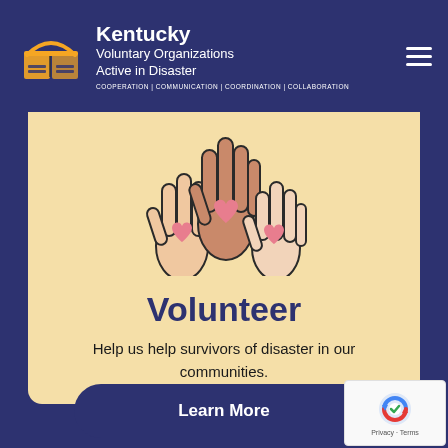Kentucky Voluntary Organizations Active in Disaster — COOPERATION | COMMUNICATION | COORDINATION | COLLABORATION
[Figure (illustration): Three hands raised with hearts on palms — volunteer/helping illustration icon]
Volunteer
Help us help survivors of disaster in our communities.
Learn More
[Figure (logo): reCAPTCHA badge with Privacy and Terms links]